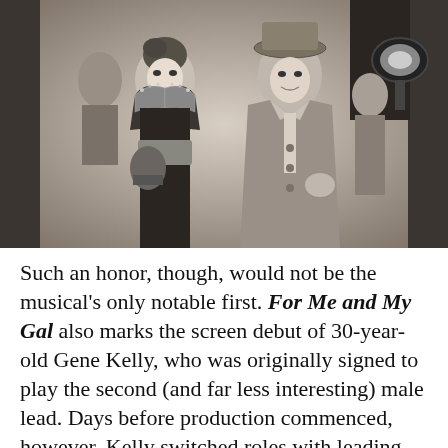[Figure (photo): A black and white still photograph from the 1942 MGM film 'For Me and My Gal', showing a woman in a sparkly costume with elaborate shoulder decoration standing next to a man in a wide-lapel suit and hat. Other people and film lighting equipment visible in the background.]
Such an honor, though, would not be the musical's only notable first. For Me and My Gal also marks the screen debut of 30-year-old Gene Kelly, who was originally signed to play the second (and far less interesting) male lead. Days before production commenced, however, Kelly switched roles with leading man George Murphy, and a major career was